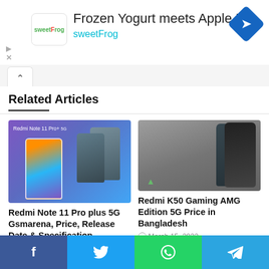[Figure (screenshot): Advertisement banner for sweetFrog: 'Frozen Yogurt meets Apple Pie' with sweetFrog logo and blue navigation icon]
Related Articles
[Figure (photo): Redmi Note 11 Pro+ 5G phones on purple/blue gradient background]
Redmi Note 11 Pro plus 5G Gsmarena, Price, Release Date & Specification
March 14, 2022
[Figure (photo): Redmi K50 Gaming AMG Edition 5G phone in dark/teal color on gray background]
Redmi K50 Gaming AMG Edition 5G Price in Bangladesh
March 15, 2022
Social share bar: Facebook, Twitter, WhatsApp, Telegram